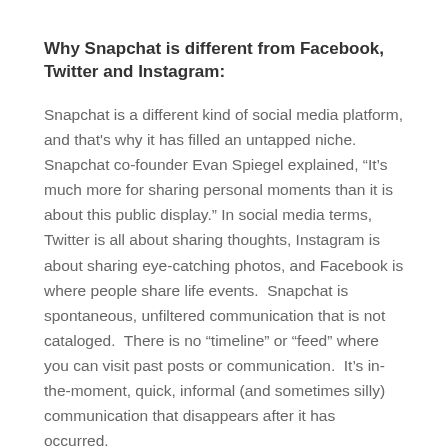Why Snapchat is different from Facebook, Twitter and Instagram:
Snapchat is a different kind of social media platform, and that's why it has filled an untapped niche.  Snapchat co-founder Evan Spiegel explained, “It's much more for sharing personal moments than it is about this public display.” In social media terms, Twitter is all about sharing thoughts, Instagram is about sharing eye-catching photos, and Facebook is where people share life events.  Snapchat is spontaneous, unfiltered communication that is not cataloged.  There is no “timeline” or “feed” where you can visit past posts or communication.  It's in-the-moment, quick, informal (and sometimes silly) communication that disappears after it has occurred.